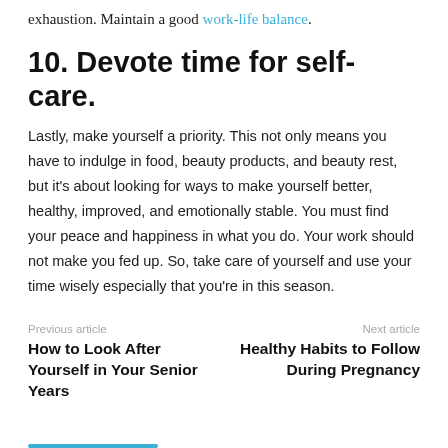exhaustion. Maintain a good work-life balance.
10. Devote time for self-care.
Lastly, make yourself a priority. This not only means you have to indulge in food, beauty products, and beauty rest, but it's about looking for ways to make yourself better, healthy, improved, and emotionally stable. You must find your peace and happiness in what you do. Your work should not make you fed up. So, take care of yourself and use your time wisely especially that you're in this season.
Previous article
How to Look After Yourself in Your Senior Years
Next article
Healthy Habits to Follow During Pregnancy